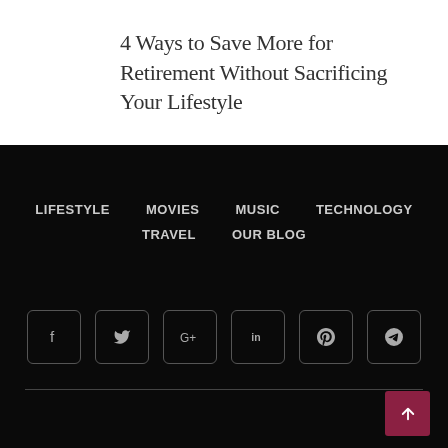4 Ways to Save More for Retirement Without Sacrificing Your Lifestyle
LIFESTYLE   MOVIES   MUSIC   TECHNOLOGY   TRAVEL   OUR BLOG
[Figure (infographic): Social media icon buttons in rounded square boxes: Facebook (f), Twitter (bird), Google+ (G+), LinkedIn (in), Pinterest (P), Telegram (arrow)]
[Figure (infographic): Back to top button - pink/crimson rounded square with upward arrow]